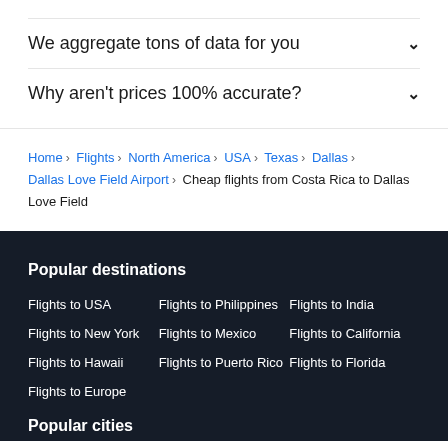We aggregate tons of data for you
Why aren't prices 100% accurate?
Home › Flights › North America › USA › Texas › Dallas › Dallas Love Field Airport › Cheap flights from Costa Rica to Dallas Love Field
Popular destinations
Flights to USA
Flights to Philippines
Flights to India
Flights to New York
Flights to Mexico
Flights to California
Flights to Hawaii
Flights to Puerto Rico
Flights to Florida
Flights to Europe
Popular cities